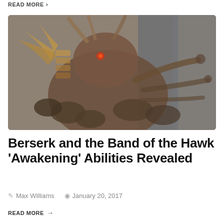READ MORE →
[Figure (photo): Dark fantasy video game screenshot showing a large monster creature — a giant insect-like demon with a glowing red eye, surrounded by smaller dark creatures, set in a gloomy dungeon environment. The image has a desaturated, foggy appearance.]
Berserk and the Band of the Hawk 'Awakening' Abilities Revealed
Max Williams   January 20, 2017
READ MORE →